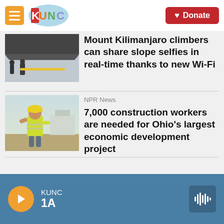[Figure (screenshot): KUNC radio app header with hamburger menu, KUNC logo, and red Donate button]
[Figure (photo): Mount Kilimanjaro climbers on a snowy slope]
Mount Kilimanjaro climbers can share slope selfies in real-time thanks to new Wi-Fi
[Figure (photo): Construction worker in yellow hard hat and safety vest on a job site]
NPR News
7,000 construction workers are needed for Ohio's largest economic development project
KUNC 1A